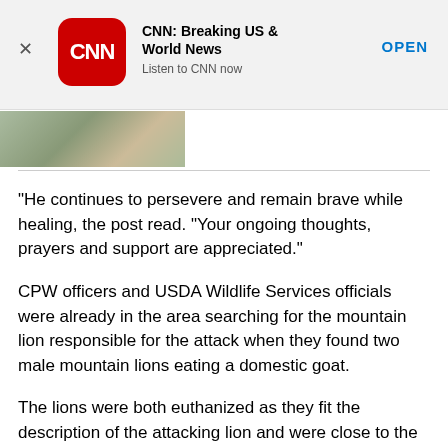[Figure (screenshot): CNN app advertisement banner with CNN logo (red rounded square with white CNN text), bold title 'CNN: Breaking US & World News', subtitle 'Listen to CNN now', and 'OPEN' button in blue. An X close button is on the left.]
[Figure (photo): Partial photograph strip showing what appears to be outdoor/nature scene, visible at the bottom of the ad area.]
“He continues to persevere and remain brave while healing, the post read. “Your ongoing thoughts, prayers and support are appreciated.”
CPW officers and USDA Wildlife Services officials were already in the area searching for the mountain lion responsible for the attack when they found two male mountain lions eating a domestic goat.
The lions were both euthanized as they fit the description of the attacking lion and were close to the site.